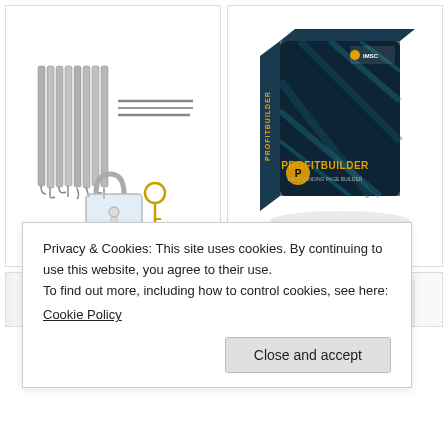[Figure (photo): Lock pick set with multiple picks, tension wrenches, and a transparent practice padlock with a key]
[Figure (photo): ProfitBuilder software box with dark blue/teal geometric design, IMSC logo, and ProfitBuilder branding with gold accents]
[Figure (photo): Partial view of a product image at bottom left, showing dark object top edge]
[Figure (photo): Partial view of a product image at bottom right]
Privacy & Cookies: This site uses cookies. By continuing to use this website, you agree to their use.
To find out more, including how to control cookies, see here:
Cookie Policy
Close and accept